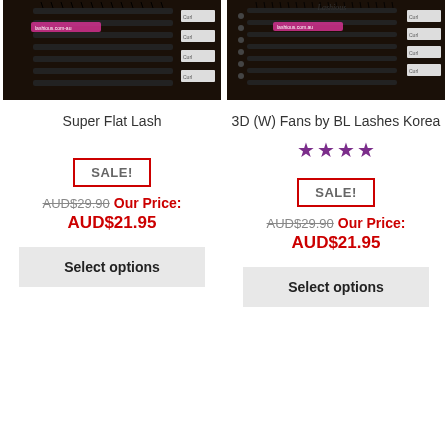[Figure (photo): Product photo of Super Flat Lash eyelash trays on dark background]
[Figure (photo): Product photo of 3D (W) Fans by BL Lashes Korea on dark background with Lashious.com.au branding]
Super Flat Lash
3D (W) Fans by BL Lashes Korea
SALE!
★★★★
SALE!
AUD$29.90 Our Price: AUD$21.95
AUD$29.90 Our Price: AUD$21.95
Select options
Select options